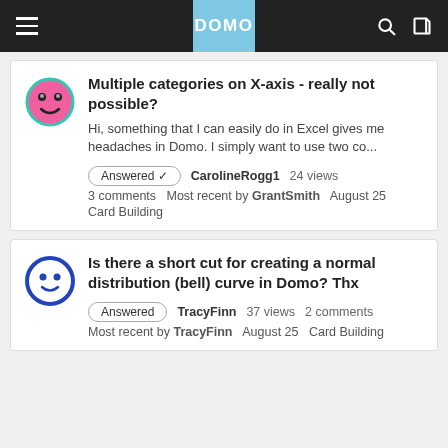DOMO
Multiple categories on X-axis - really not possible?
Hi, something that I can easily do in Excel gives me headaches in Domo. I simply want to use two co...
Answered ✓  CarolineRogg1  24 views  3 comments  Most recent by GrantSmith  August 25  Card Building
Is there a short cut for creating a normal distribution (bell) curve in Domo? Thx
Answered  TracyFinn  37 views  2 comments  Most recent by TracyFinn  August 25  Card Building